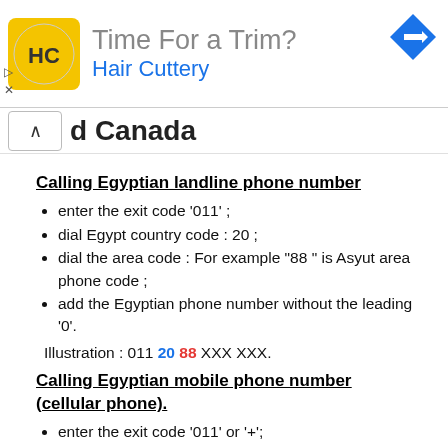[Figure (other): Hair Cuttery advertisement banner with logo, tagline 'Time For a Trim?' and navigation arrow icon]
d Canada
Calling Egyptian landline phone number
enter the exit code '011' ;
dial Egypt country code : 20 ;
dial the area code : For example "88 " is Asyut area phone code ;
add the Egyptian phone number without the leading '0'.
Illustration : 011 20 88 XXX XXX.
Calling Egyptian mobile phone number (cellular phone)
enter the exit code '011' or '+';
dial Egypt country code : 20 ;
add the Egyptian mobile phone number without the leading '0'.